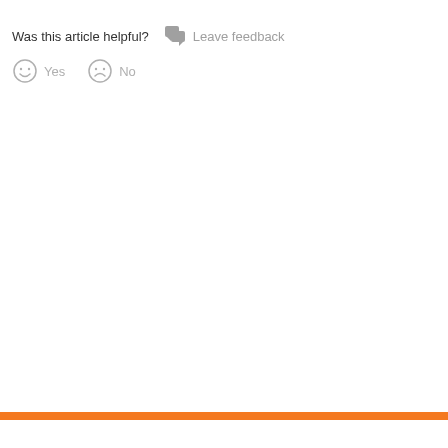Was this article helpful?
Leave feedback
Yes
No